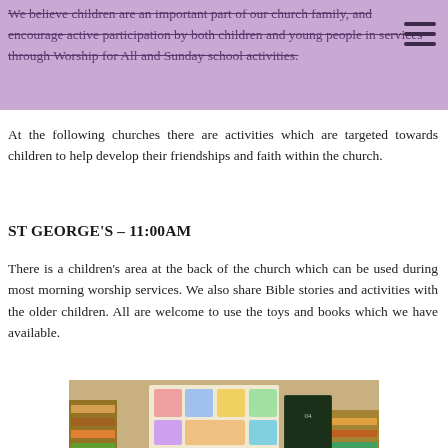We believe children are an important part of our church family, and encourage active participation by both children and young people in services through Worship for All and Sunday school activities.
At the following churches there are activities which are targeted towards children to help develop their friendships and faith within the church.
ST GEORGE'S – 11:00AM
There is a children's area at the back of the church which can be used during most morning worship services. We also share Bible stories and activities with the older children. All are welcome to use the toys and books which we have available.
[Figure (photo): Photo of children sitting around a table in a children's area at a church, with bookshelves, colorful decorations and a chalkboard in the background.]